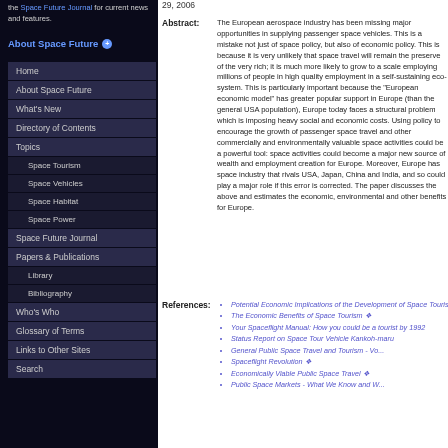the Space Future Journal for current news and features.
About Space Future
Home
About Space Future
What's New
Directory of Contents
Topics
Space Tourism
Space Vehicles
Space Habitat
Space Power
Space Future Journal
Papers & Publications
Library
Bibliography
Who's Who
Glossary of Terms
Links to Other Sites
Search
29, 2006
Abstract: The European aerospace industry has been missing major opportunities in supplying passenger space vehicles. This is a mistake not just of space policy, but also of economic policy. This is because it is very unlikely that space travel will remain the preserve of the very rich; it is much more likely to grow to a scale employing millions of people in high quality employment in a self-sustaining eco-system. This is particularly important because the "European economic model" has greater popular support in Europe (than the general USA population), Europe today faces a structural problem which is imposing heavy social and economic costs. Using policy to encourage the growth of passenger space travel and other commercially and environmentally valuable space activities could be a powerful tool: space activities could become a major new source of wealth and employment creation for Europe. Moreover, Europe has space industry that rivals USA, Japan, China and India, and so could play a major role if this error is corrected. The paper discusses the above and estimates the economic, environmental and other benefits for Europe.
References:
Potential Economic Implications of the Development of Space Tourism
The Economic Benefits of Space Tourism
Your Spaceflight Manual: How you could be a space tourist by 1992
Status Report on Space Tour Vehicle Kankoh-maru
General Public Space Travel and Tourism - Volume 1
Spaceflight Revolution
Economically Viable Public Space Travel
Public Space Markets - What We Know and What We Need to Know